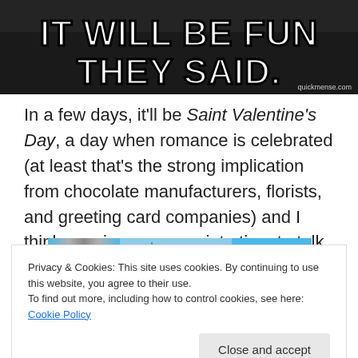[Figure (photo): Meme image with dark background and bold white text reading 'IT WILL BE FUN THEY SAID.' with watermark quickmense.com]
In a few days, it'll be Saint Valentine's Day, a day when romance is celebrated (at least that's the strong implication from chocolate manufacturers, florists, and greeting card companies) and I think now is an appropriate time to talk about love and romance in Westeros.
[Figure (screenshot): Partial media player or navigation strip in blue/cyan color with a thumbnail and a badge showing '05']
Privacy & Cookies: This site uses cookies. By continuing to use this website, you agree to their use.
To find out more, including how to control cookies, see here: Cookie Policy
Close and accept